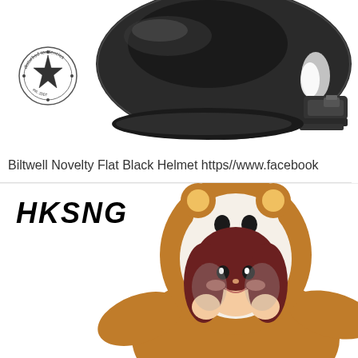[Figure (photo): Black motorcycle helmet (Biltwell Novelty Flat Black) shown from above/back angle, with a small circular logo (Disturbed Tendencies) in the top-left corner]
Biltwell Novelty Flat Black Helmet https//www.facebook
[Figure (photo): Person wearing a brown bear animal onesie hoodie (Rilakkuma style) with round yellow ears and bear face on hood, holding the hood closed, smiling. Text 'HKSNG' in bold italic black font on the left.]